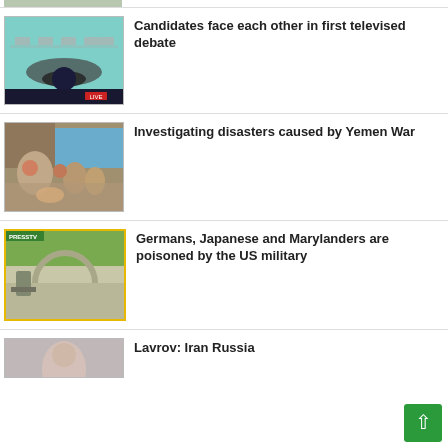[Figure (photo): Partial top image cropped at top of page, showing what appears to be people]
[Figure (photo): TV debate stage with circular desk and blue glowing center logo]
Candidates face each other in first televised debate
[Figure (photo): Children and adults sitting outside makeshift shelter, Yemen war displacement scene]
Investigating disasters caused by Yemen War
[Figure (photo): Soldier near circular water tank, PressTV logo visible, yellow border]
Germans, Japanese and Marylanders are poisoned by the US military
[Figure (photo): Partial image of person, bottom of page]
Lavrov: Iran Russia